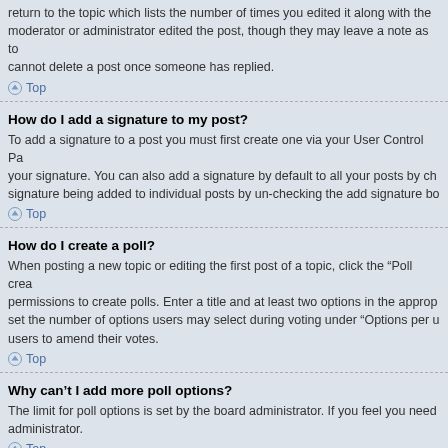return to the topic which lists the number of times you edited it along with the moderator or administrator edited the post, though they may leave a note as to cannot delete a post once someone has replied.
Top
How do I add a signature to my post?
To add a signature to a post you must first create one via your User Control Pa your signature. You can also add a signature by default to all your posts by ch signature being added to individual posts by un-checking the add signature bo
Top
How do I create a poll?
When posting a new topic or editing the first post of a topic, click the “Poll crea permissions to create polls. Enter a title and at least two options in the approp set the number of options users may select during voting under “Options per u users to amend their votes.
Top
Why can’t I add more poll options?
The limit for poll options is set by the board administrator. If you feel you need administrator.
Top
How do I edit or delete a poll?
As with posts, polls can only be edited by the original poster, a moderator or a